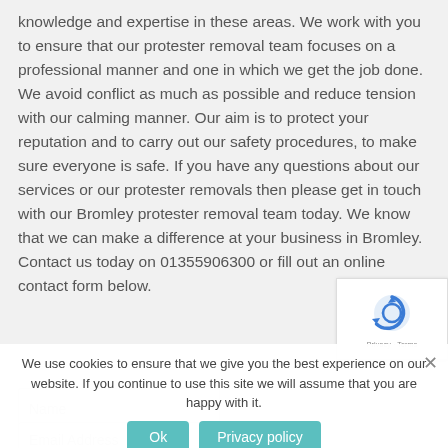knowledge and expertise in these areas. We work with you to ensure that our protester removal team focuses on a professional manner and one in which we get the job done. We avoid conflict as much as possible and reduce tension with our calming manner. Our aim is to protect your reputation and to carry out our safety procedures, to make sure everyone is safe. If you have any questions about our services or our protester removals then please get in touch with our Bromley protester removal team today. We know that we can make a difference at your business in Bromley. Contact us today on 01355906300 or fill out an online contact form below.
[Figure (other): reCAPTCHA widget showing the reCAPTCHA logo with Privacy and Terms links below]
We use cookies to ensure that we give you the best experience on our website. If you continue to use this site we will assume that you are happy with it.